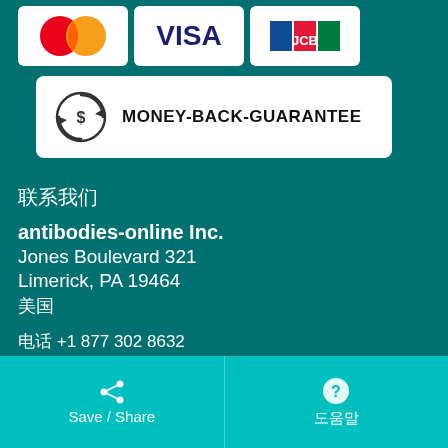[Figure (logo): Three payment card logos: MasterCard, Visa, JCB displayed in white rounded boxes]
[Figure (infographic): Money-back guarantee badge: circular arrows with dollar sign icon, text MONEY-BACK-GUARANTEE]
联系我们
antibodies-online Inc.
Jones Boulevard 321
Limerick, PA 19464
美国
电话 +1 877 302 8632
传真 +1 888 205 9894 (Toll-free)
Partners
Rockland Immunochemicals, Inc.
Save / Share    도움말